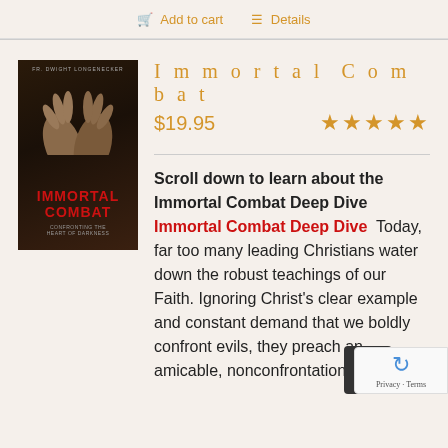Add to cart   Details
[Figure (illustration): Book cover for 'Immortal Combat' by Fr. Dwight Longenecker. Dark background with hands, red title text, and subtitle 'Confronting the Heart of Darkness'.]
Immortal Combat
$19.95  ★★★★★
Scroll down to learn about the Immortal Combat Deep Dive Today, far too many leading Christians water down the robust teachings of our Faith. Ignoring Christ's clear example and constant demand that we boldly confront evils, they preach an amicable, nonconfrontational, feel-